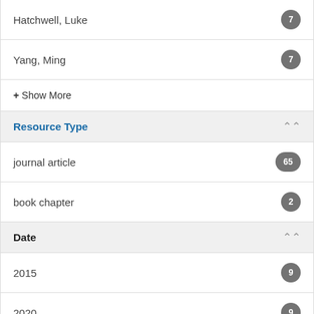Hatchwell, Luke 7
Yang, Ming 7
+ Show More
Resource Type
journal article 65
book chapter 2
Date
2015 9
2020 9
2021 8
2013 7